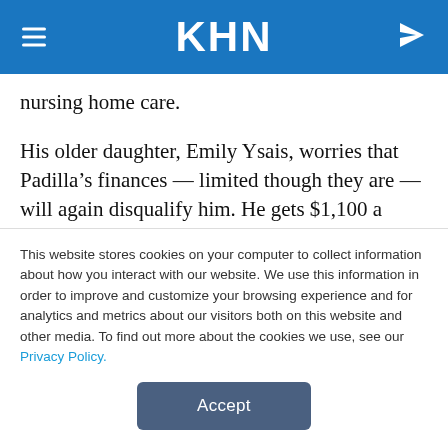KHN
nursing home care.
His older daughter, Emily Ysais, worries that Padilla’s finances — limited though they are — will again disqualify him. He gets $1,100 a month from his pension and Social Security. If Veterans Affairs approves the monthly caregiving stipend she helped her dad apply for, it could tip him over the limit of
This website stores cookies on your computer to collect information about how you interact with our website. We use this information in order to improve and customize your browsing experience and for analytics and metrics about our visitors both on this website and other media. To find out more about the cookies we use, see our Privacy Policy.
Accept